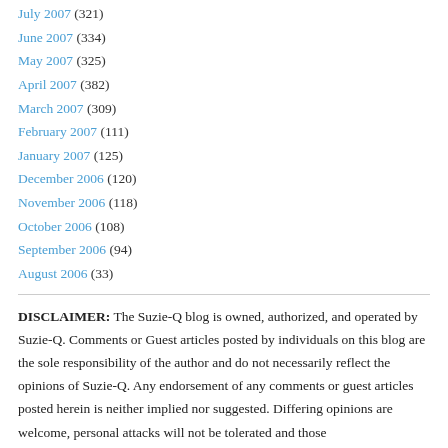July 2007 (321)
June 2007 (334)
May 2007 (325)
April 2007 (382)
March 2007 (309)
February 2007 (111)
January 2007 (125)
December 2006 (120)
November 2006 (118)
October 2006 (108)
September 2006 (94)
August 2006 (33)
DISCLAIMER: The Suzie-Q blog is owned, authorized, and operated by Suzie-Q. Comments or Guest articles posted by individuals on this blog are the sole responsibility of the author and do not necessarily reflect the opinions of Suzie-Q. Any endorsement of any comments or guest articles posted herein is neither implied nor suggested. Differing opinions are welcome, personal attacks will not be tolerated and those